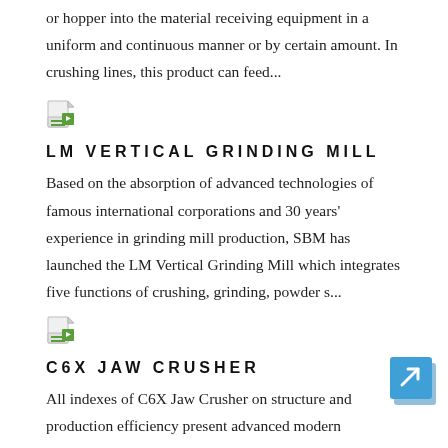or hopper into the material receiving equipment in a uniform and continuous manner or by certain amount. In crushing lines, this product can feed...
[Figure (illustration): Small document/file icon with green arrow graphic]
LM VERTICAL GRINDING MILL
Based on the absorption of advanced technologies of famous international corporations and 30 years' experience in grinding mill production, SBM has launched the LM Vertical Grinding Mill which integrates five functions of crushing, grinding, powder s...
[Figure (illustration): Small document/file icon with green arrow graphic]
C6X JAW CRUSHER
[Figure (illustration): Blue square button with white arrow/link icon]
All indexes of C6X Jaw Crusher on structure and production efficiency present advanced modern